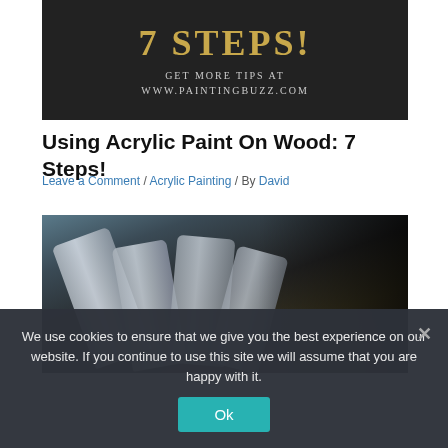[Figure (illustration): Dark banner with '7 STEPS!' in large gold serif text and 'GET MORE TIPS AT WWW.PAINTINGBUZZ.COM' in smaller white serif text below]
Using Acrylic Paint On Wood: 7 Steps!
Leave a Comment / Acrylic Painting / By David
[Figure (photo): Photo of acrylic paint tubes scattered together, close-up shot with dark background]
We use cookies to ensure that we give you the best experience on our website. If you continue to use this site we will assume that you are happy with it.